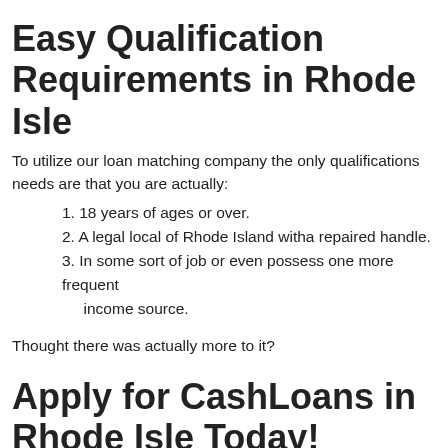Easy Qualification Requirements in Rhode Isle
To utilize our loan matching company the only qualifications needs are that you are actually:
18 years of ages or over.
A legal local of Rhode Island witha repaired handle.
In some sort of job or even possess one more frequent income source.
Thought there was actually more to it?
Apply for CashLoans in Rhode Isle Today!
All people are actually dealt withshort-term financial concerns eventually, and tribal loans no teletrack the